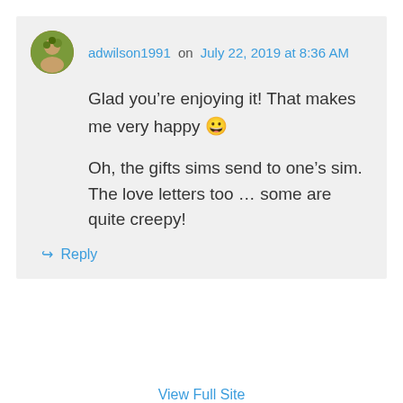adwilson1991 on July 22, 2019 at 8:36 AM
Glad you’re enjoying it! That makes me very happy 😄
Oh, the gifts sims send to one’s sim. The love letters too … some are quite creepy!
↪ Reply
View Full Site
Blog at WordPress.com.